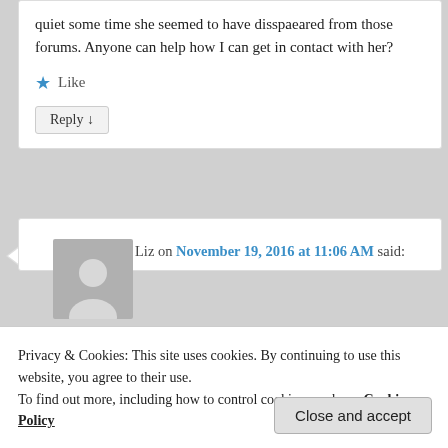quiet some time she seemed to have disspaeared from those forums. Anyone can help how I can get in contact with her?
★ Like
Reply ↓
[Figure (illustration): Generic user avatar — grey silhouette of a person on grey background]
Liz on November 19, 2016 at 11:06 AM said:
to tell him he needs to stop his current 5 day going
Privacy & Cookies: This site uses cookies. By continuing to use this website, you agree to their use.
To find out more, including how to control cookies, see here: Cookie Policy
Close and accept